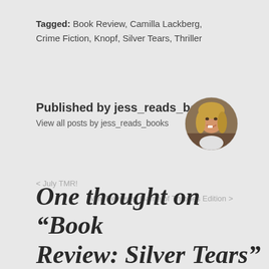Tagged: Book Review, Camilla Lackberg, Crime Fiction, Knopf, Silver Tears, Thriller
Published by jess_reads_books
View all posts by jess_reads_books
[Figure (photo): Circular avatar photo of a smiling blonde woman]
< July TMR!
Mini Reviews: Game of Thrones Edition >
One thought on “Book Review: Silver Tears”